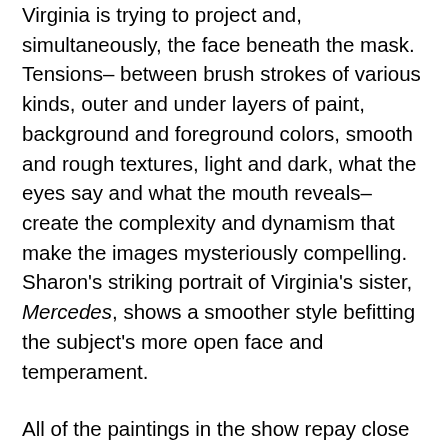Virginia is trying to project and, simultaneously, the face beneath the mask. Tensions– between brush strokes of various kinds, outer and under layers of paint, background and foreground colors, smooth and rough textures, light and dark, what the eyes say and what the mouth reveals–create the complexity and dynamism that make the images mysteriously compelling. Sharon's striking portrait of Virginia's sister, Mercedes, shows a smoother style befitting the subject's more open face and temperament.
All of the paintings in the show repay close study. Most of the paintings on fiber board began with Milton Avery-like blocks or swaths of color, and you can see them bleeding through and influencing the figures on the surface. You can see Sharon's deftness in so many of the fabrics she designs; her colorist instincts (remember–the snapshots are in black and white); her